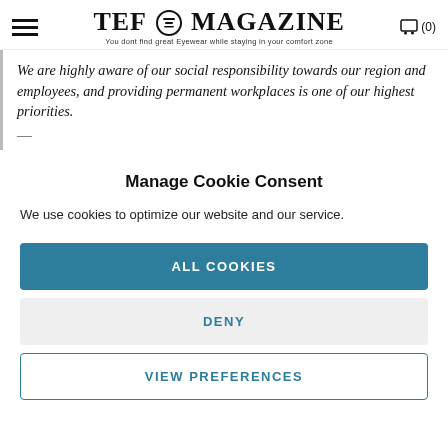TEF MAGAZINE — You dont find great Eyewear while staying in your comfort zone
We are highly aware of our social responsibility towards our region and employees, and providing permanent workplaces is one of our highest priorities.
Manage Cookie Consent
We use cookies to optimize our website and our service.
ALL COOKIES
DENY
VIEW PREFERENCES